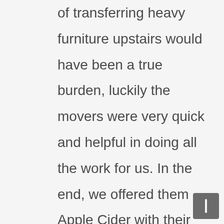of transferring heavy furniture upstairs would have been a true burden, luckily the movers were very quick and helpful in doing all the work for us. In the end, we offered them Apple Cider with their job well done. At the time, I was too young to understand the moving process, but one thing I truly remember is that these strong men worked very fast.